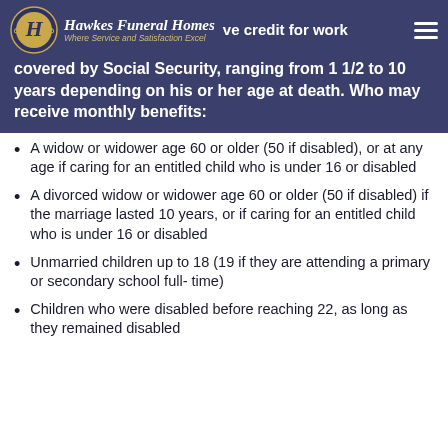Hawkes Funeral Homes — Where Service and Satisfaction Excel
…ve credit for work covered by Social Security, ranging from 1 1/2 to 10 years depending on his or her age at death. Who may receive monthly benefits:
A widow or widower age 60 or older (50 if disabled), or at any age if caring for an entitled child who is under 16 or disabled
A divorced widow or widower age 60 or older (50 if disabled) if the marriage lasted 10 years, or if caring for an entitled child who is under 16 or disabled
Unmarried children up to 18 (19 if they are attending a primary or secondary school full- time)
Children who were disabled before reaching 22, as long as they remained disabled